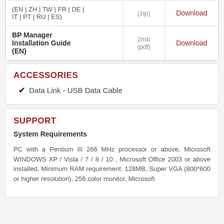| (EN | ZH | TW | FR | DE | IT | PT | RU | ES) | (zip) | Download |
| BP Manager Installation Guide (EN) | 2mb (pdf) | Download |
ACCESSORIES
✔ Data Link - USB Data Cable
SUPPORT
System Requirements PC with a Pentium III 266 MHz processor or above, Microsoft WINDOWS XP / Vista / 7 / 8 / 10 , Microsoft Office 2003 or above installed, Minimum RAM requirement: 128MB, Super VGA (800*600 or higher resolution), 256 color monitor, Microsoft